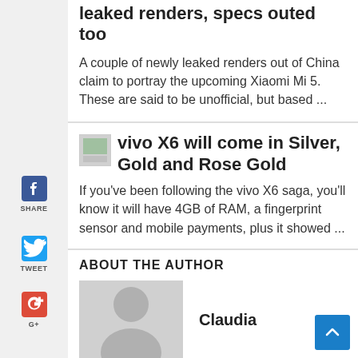leaked renders, specs outed too
A couple of newly leaked renders out of China claim to portray the upcoming Xiaomi Mi 5. These are said to be unofficial, but based ...
vivo X6 will come in Silver, Gold and Rose Gold
If you've been following the vivo X6 saga, you'll know it will have 4GB of RAM, a fingerprint sensor and mobile payments, plus it showed ...
ABOUT THE AUTHOR
Claudia
[Figure (illustration): Author avatar placeholder silhouette]
[Figure (illustration): Thumbnail image placeholder for article]